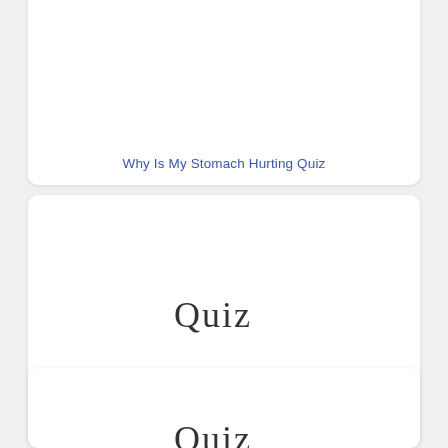Why Is My Stomach Hurting Quiz
[Figure (illustration): Card with handwritten-style 'Quiz' text image placeholder]
How Bad Is My Sleep Schedule Quiz
[Figure (illustration): Card with handwritten-style 'Quiz' text image placeholder]